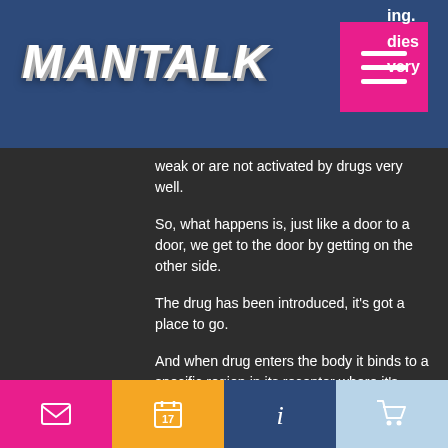MANTALK
...ing. ...dies ...very weak or are not activated by drugs very well.
So, what happens is, just like a door to a door, we get to the door by getting on the other side.
The drug has been introduced, it's got a place to go.
And when drug enters the body it binds to a specific region in its receptor where it's blocked. A particular cell is activated, and when the drug exits the body, it gets back into that cell and can do whatever it wants.
And because drugs enter the
Email | Calendar | Info | Cart